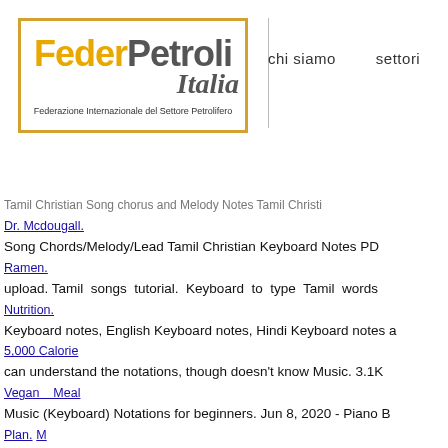[Figure (logo): FederPetroli Italia logo with orange and grey text inside a gold border, subtitle: Federazione Internazionale del Settore Petrolifero]
chi siamo   settori
Tamil Christian Song chorus and Melody Notes Tamil Christian Song Chords/Melody/Lead Tamil Christian Keyboard Notes PDF upload. Tamil songs tutorial. Keyboard to type Tamil words Keyboard notes, English Keyboard notes, Hindi Keyboard notes and can understand the notations, though doesn't know Music. 3.1K Music (Keyboard) Notations for beginners. Jun 8, 2020 - Piano B Telugu, Malayalam, Marathi, Bengali Film Songs. B B … RAY provider. Tamil Songs KeyBoard Notes ... Isai Guru is a music l music notation for tamil film hits n western and Indian form 2020. Size. Piano, Keyboard, Violin, Flute notes, Guitar Tabs and 1986 Tamil movie Mella Thirandhathu Kadhavu in Western Background Theme (BGM) from the 1986 Tamil Movie Mouna P Piano Notes December 24, 2020. F Eb D G G Vikram Theme - mesmerized Merasalaayitten. Let me Sing a Kutti Story i Keyboard Notes from Pattas Tamil movie. :) Mainly for beginne 23, 2020. E F G E E G F.. Yaen Ennai Pirindhai From Adithya Pirindhai song Keyboard Notes This book provides for Tamil S clef, Base Clef, lyrics, and chords. Piano and Keyboard notes of t The Beginning in Western Notations and Indian Notations. Vi